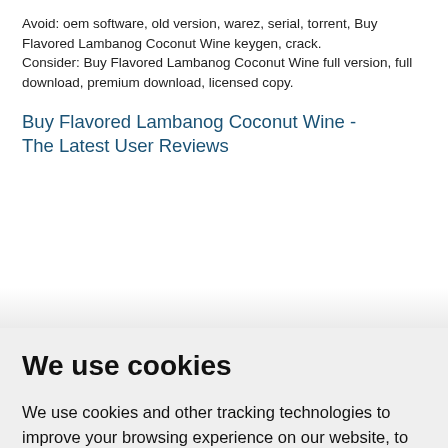Avoid: oem software, old version, warez, serial, torrent, Buy Flavored Lambanog Coconut Wine keygen, crack.
Consider: Buy Flavored Lambanog Coconut Wine full version, full download, premium download, licensed copy.
Buy Flavored Lambanog Coconut Wine - The Latest User Reviews
We use cookies
We use cookies and other tracking technologies to improve your browsing experience on our website, to show you personalized content and targeted ads, to analyze our website traffic, and to understand where our visitors are coming from.
I agree | Change my preferences